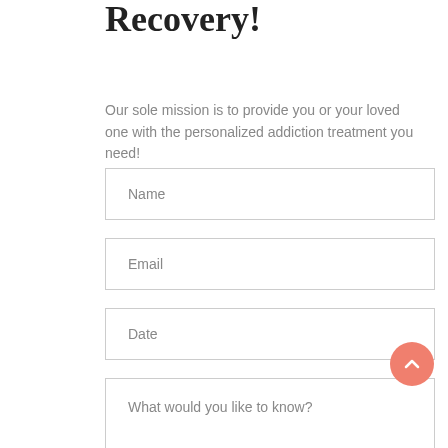Recovery!
Our sole mission is to provide you or your loved one with the personalized addiction treatment you need!
[Figure (other): Web form with input fields for Name, Email, Date, and a textarea asking 'What would you like to know?', plus a salmon-colored scroll-to-top button]